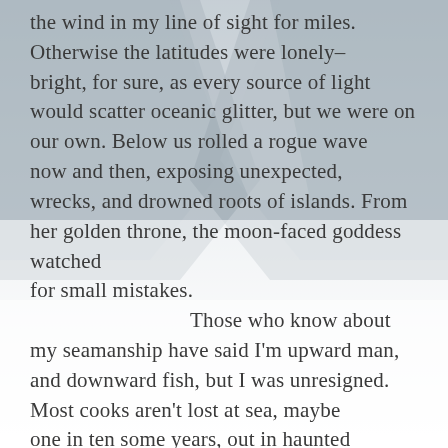[Figure (illustration): Soft watercolor-style background of misty mountains or cliffs in muted grey-blue tones, fading to white at the bottom, suggesting an ocean or sky scene.]
the wind in my line of sight for miles. Otherwise the latitudes were lonely–bright, for sure, as every source of light would scatter oceanic glitter, but we were on our own. Below us rolled a rogue wave now and then, exposing unexpected, wrecks, and drowned roots of islands. From her golden throne, the moon-faced goddess watched
for small mistakes.
        Those who know about my seamanship have said I'm upward man, and downward fish, but I was unresigned. Most cooks aren't lost at sea, maybe one in ten some years, out in haunted waters. Nonetheless, in Mexico